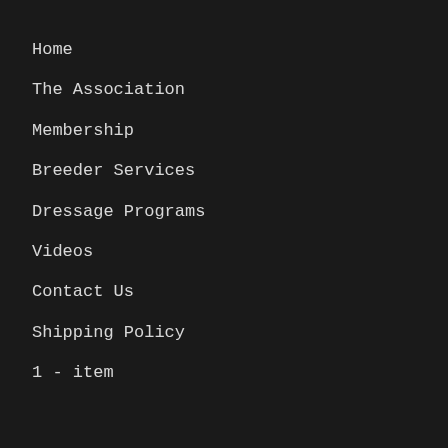Home
The Association
Membership
Breeder Services
Dressage Programs
Videos
Contact Us
Shipping Policy
1 - item